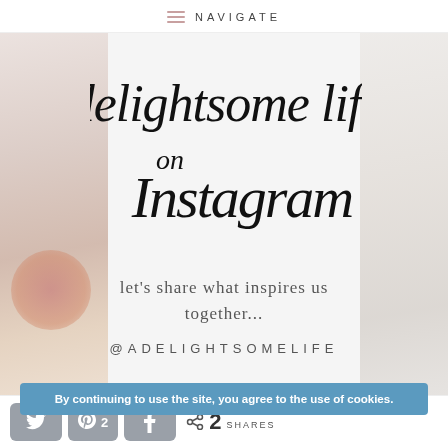NAVIGATE
[Figure (illustration): Handwritten script logo reading 'delightsome life on Instagram' in calligraphy style, centered between two blurred lifestyle photos on left and right edges]
let's share what inspires us together...
@ADELIGHTSOMELIFE
By continuing to use the site, you agree to the use of cookies.
2 SHARES